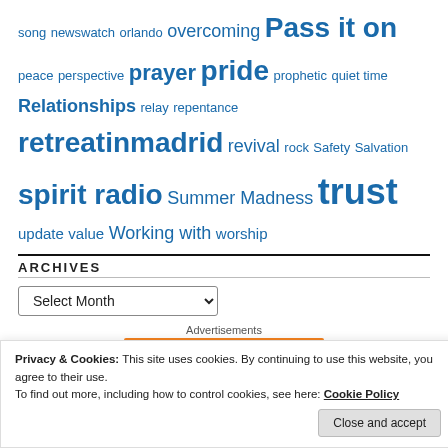song newswatch orlando overcoming Pass it on peace perspective prayer pride prophetic quiet time Relationships relay repentance retreatinmadrid revival rock Safety Salvation spirit radio Summer Madness trust update value Working with worship
ARCHIVES
Select Month (dropdown)
Advertisements
Privacy & Cookies: This site uses cookies. By continuing to use this website, you agree to their use. To find out more, including how to control cookies, see here: Cookie Policy
Close and accept